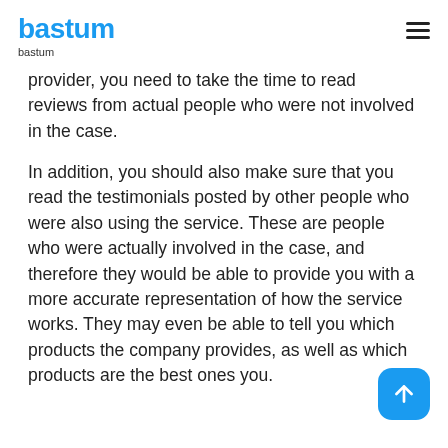bastum
bastum
provider, you need to take the time to read reviews from actual people who were not involved in the case.
In addition, you should also make sure that you read the testimonials posted by other people who were also using the service. These are people who were actually involved in the case, and therefore they would be able to provide you with a more accurate representation of how the service works. They may even be able to tell you which products the company provides, as well as which products are the best ones you.